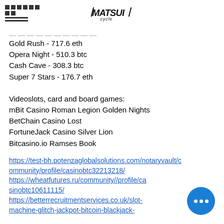MATSUI cycle [logo with hamburger menu]
Gold Rush - 717.6 eth
Opera Night - 510.3 btc
Cash Cave - 308.3 btc
Super 7 Stars - 176.7 eth
Videoslots, card and board games:
mBit Casino Roman Legion Golden Nights
BetChain Casino Lost
FortuneJack Casino Silver Lion
Bitcasino.io Ramses Book
https://test-bh.potenzaglobalsolutions.com/notaryvault/community/profile/casinobtc32213218/ https://wheatfutures.ru/community//profile/casinobtc10611115/ https://betterrecruitmentservices.co.uk/slot-machine-glitch-jackpot-bitcoin-blackjack-